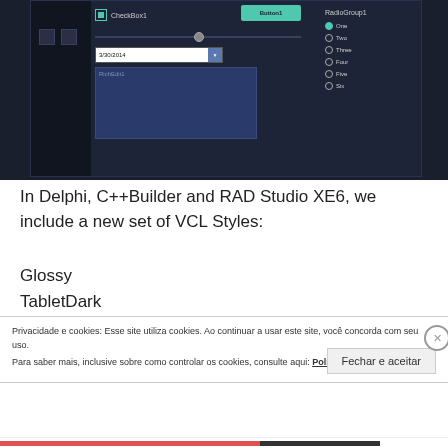[Figure (screenshot): Dark-themed IDE/UI designer showing a form with CheckBox1, Button1 (teal), a RadioGroup1 with options One/Two/Three/Four/Five/Six, a date field showing 3/30/2014, a slider, and a RichEdit1 component. The background is dark navy/charcoal.]
In Delphi, C++Builder and RAD Studio XE6, we include a new set of VCL Styles:
Glossy
TabletDark
See the full tip, click on the image!
Privacidade e cookies: Esse site utiliza cookies. Ao continuar a usar este site, você concorda com seu uso.
Para saber mais, inclusive sobre como controlar os cookies, consulte aqui: Política de cookies
Fechar e aceitar